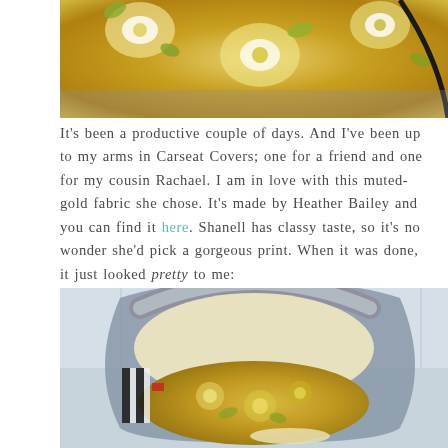[Figure (photo): Close-up of a muted-gold floral fabric carseat cover with green and white flower pattern]
It's been a productive couple of days. And I've been up to my arms in Carseat Covers; one for a friend and one for my cousin Rachael. I am in love with this muted-gold fabric she chose. It's made by Heather Bailey and you can find it here. Shanell has classy taste, so it's no wonder she'd pick a gorgeous print. When it was done, it just looked pretty to me:
[Figure (photo): A baby carseat with a muted-gold floral fabric cover by Heather Bailey, photographed against a light wood background]